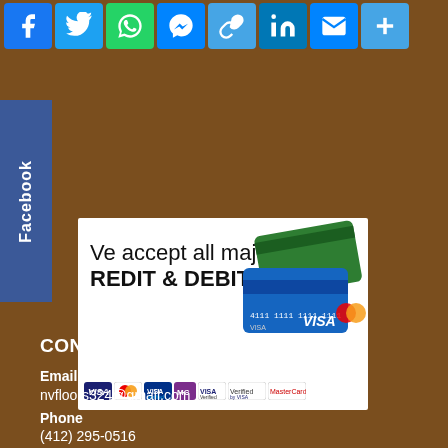[Figure (other): Social sharing icons bar: Facebook, Twitter, WhatsApp, Messenger, Copy Link, LinkedIn, Email, More/Plus]
[Figure (other): Facebook sidebar widget with vertical text 'Facebook']
[Figure (other): Credit card acceptance banner: 'We accept all major CREDIT & DEBIT CARDS' with card logos including Visa, MasterCard and others]
CONTACT US
Email
nvfloors324@gmail.com
Phone
(412) 295-0516
Address